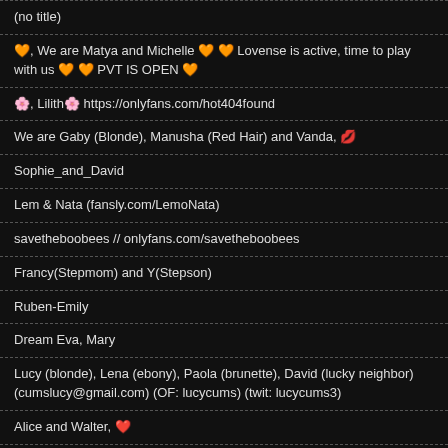(no title)
🧡, We are Matya and Michelle 🧡 🧡 Lovense is active, time to play with us 🧡 🧡 PVT IS OPEN 🧡
🌸, Lilith🌸 https://onlyfans.com/hot404found
We are Gaby (Blonde), Manusha (Red Hair) and Vanda, 💋
Sophie_and_David
Lem & Nata (fansly.com/LemoNata)
savetheboobees // onlyfans.com/savetheboobees
Francy(Stepmom) and Y(Stepson)
Ruben-Emily
Dream Eva, Mary
Lucy (blonde), Lena (ebony), Paola (brunette), David (lucky neighbor) (cumslucy@gmail.com) (OF: lucycums) (twit: lucycums3)
Alice and Walter, ❤️